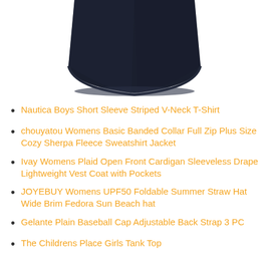[Figure (photo): Bottom portion of a dark navy/black t-shirt or garment against a white background, showing the hem and lower body of the shirt.]
Nautica Boys Short Sleeve Striped V-Neck T-Shirt
chouyatou Womens Basic Banded Collar Full Zip Plus Size Cozy Sherpa Fleece Sweatshirt Jacket
Ivay Womens Plaid Open Front Cardigan Sleeveless Drape Lightweight Vest Coat with Pockets
JOYEBUY Womens UPF50 Foldable Summer Straw Hat Wide Brim Fedora Sun Beach hat
Gelante Plain Baseball Cap Adjustable Back Strap 3 PC
The Childrens Place Girls Tank Top